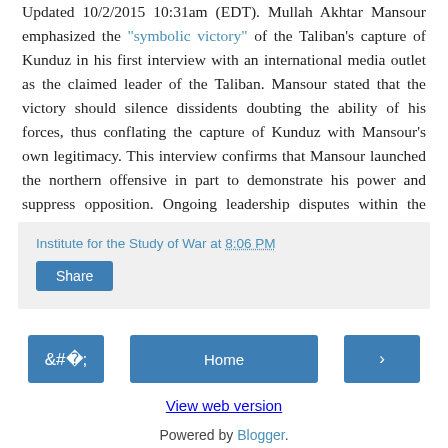Updated 10/2/2015 10:31am (EDT). Mullah Akhtar Mansour emphasized the "symbolic victory" of the Taliban's capture of Kunduz in his first interview with an international media outlet as the claimed leader of the Taliban. Mansour stated that the victory should silence dissidents doubting the ability of his forces, thus conflating the capture of Kunduz with Mansour's own legitimacy. This interview confirms that Mansour launched the northern offensive in part to demonstrate his power and suppress opposition. Ongoing leadership disputes within the Taliban likely will fuel continued offensives in Takhar and Baghlan Provinces.
Institute for the Study of War at 8:06 PM
Share
Home
View web version
Powered by Blogger.